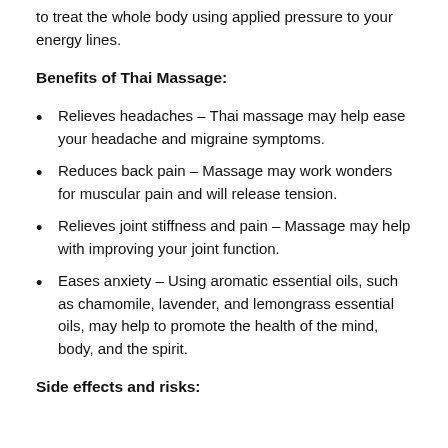to treat the whole body using applied pressure to your energy lines.
Benefits of Thai Massage:
Relieves headaches – Thai massage may help ease your headache and migraine symptoms.
Reduces back pain – Massage may work wonders for muscular pain and will release tension.
Relieves joint stiffness and pain – Massage may help with improving your joint function.
Eases anxiety – Using aromatic essential oils, such as chamomile, lavender, and lemongrass essential oils, may help to promote the health of the mind, body, and the spirit.
Side effects and risks: